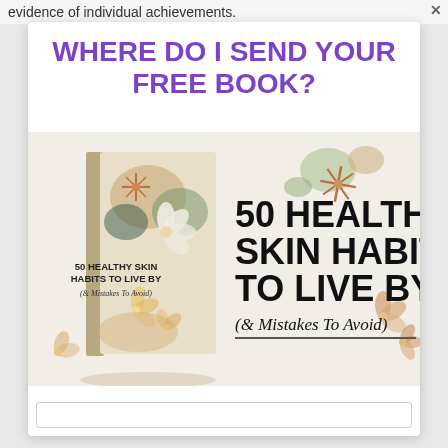evidence of individual achievements.
WHERE DO I SEND YOUR FREE BOOK?
[Figure (illustration): A book cover for '50 Healthy Skin Habits to Live By (& Mistakes To Avoid)' with floral and abstract decorative elements, next to a large text display of the same title. Decorative flowers and blobs in sage green, peach, and tan colors surround both elements on a cream background.]